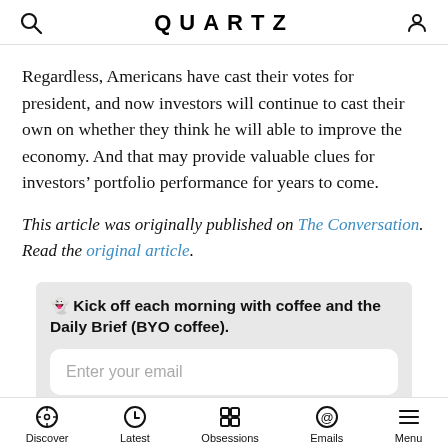QUARTZ
Regardless, Americans have cast their votes for president, and now investors will continue to cast their own on whether they think he will able to improve the economy. And that may provide valuable clues for investors’ portfolio performance for years to come.
This article was originally published on The Conversation. Read the original article.
👻 Kick off each morning with coffee and the Daily Brief (BYO coffee).
Enter your email
Discover  Latest  Obsessions  Emails  Menu